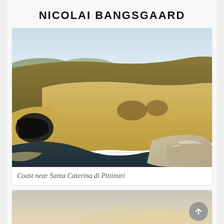NICOLAI BANGSGAARD
[Figure (photo): Coastal limestone rock formations near Santa Caterina di Pittinuri, Sardinia. Eroded white and golden cliffs with a dark water inlet, under a hazy sky.]
Coast near Santa Caterina di Pittinuri
[Figure (photo): Partially visible second photo, showing a light hazy sky with warm tones near the horizon, beginning of another coastal landscape image.]